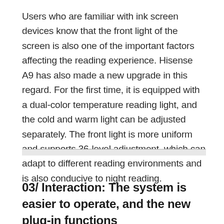Users who are familiar with ink screen devices know that the front light of the screen is also one of the important factors affecting the reading experience. Hisense A9 has also made a new upgrade in this regard. For the first time, it is equipped with a dual-color temperature reading light, and the cold and warm light can be adjusted separately. The front light is more uniform and supports 36-level adjustment, which can adapt to different reading environments and is also conducive to night reading.
03/ Interaction: The system is easier to operate, and the new plug-in functions